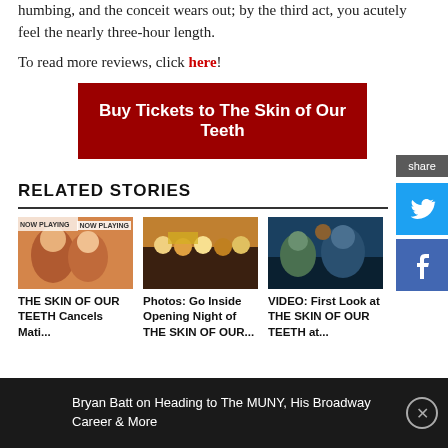humbing, and the conceit wears out; by the third act, you acutely feel the nearly three-hour length.
To read more reviews, click here!
Buy Tickets to The Skin of Our Teeth
RELATED STORIES
[Figure (photo): NOW PLAYING thumbnail showing performers]
THE SKIN OF OUR TEETH Cancels Mati...
[Figure (photo): Group photo at Opening Night of The Skin of Our Teeth]
Photos: Go Inside Opening Night of THE SKIN OF OUR...
[Figure (photo): Stage production scene from The Skin of Our Teeth]
VIDEO: First Look at THE SKIN OF OUR TEETH at...
Bryan Batt on Heading to The MUNY, His Broadway Career & More